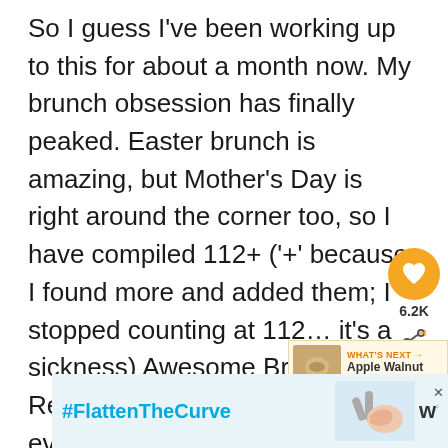So I guess I've been working up to this for about a month now. My brunch obsession has finally peaked. Easter brunch is amazing, but Mother's Day is right around the corner too, so I have compiled 112+ ('+' because I found more and added them; I stopped counting at 112… it's a sickness) Awesome Brunch Recipes from here, there and everywhere. There are casseroles and muffins, steak, cake, french toast, boozy fruit drinks, tarts, quiche… I mean really some of everything.
[Figure (infographic): Heart/like button (orange circle with heart icon) showing 6.2K likes, and a share icon below it, positioned as a sidebar overlay on the right side]
[Figure (infographic): WHAT'S NEXT banner showing Apple Walnut Danish with a thumbnail image on the right side]
[Figure (infographic): Advertisement banner at the bottom showing #FlattenTheCurve with a hand-washing image and a logo on the right]